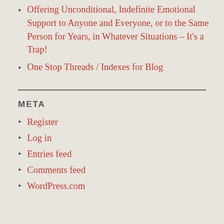Offering Unconditional, Indefinite Emotional Support to Anyone and Everyone, or to the Same Person for Years, in Whatever Situations – It's a Trap!
One Stop Threads / Indexes for Blog
META
Register
Log in
Entries feed
Comments feed
WordPress.com